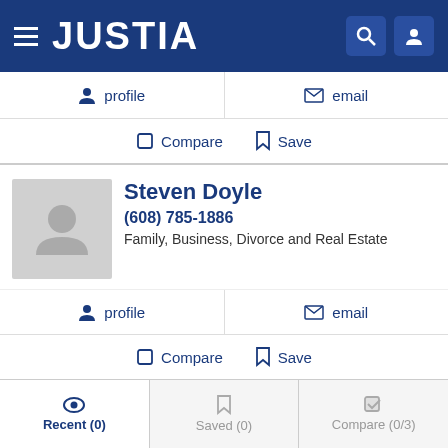JUSTIA
profile   email
Compare   Save
Steven Doyle
(608) 785-1886
Family, Business, Divorce and Real Estate
profile   email
Compare   Save
Jason Goldstein
Recent (0)   Saved (0)   Compare (0/3)